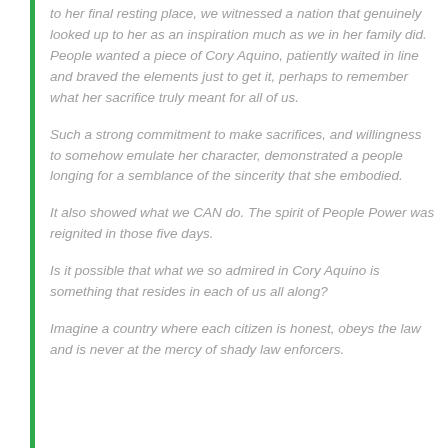to her final resting place, we witnessed a nation that genuinely looked up to her as an inspiration much as we in her family did. People wanted a piece of Cory Aquino, patiently waited in line and braved the elements just to get it, perhaps to remember what her sacrifice truly meant for all of us.
Such a strong commitment to make sacrifices, and willingness to somehow emulate her character, demonstrated a people longing for a semblance of the sincerity that she embodied.
It also showed what we CAN do. The spirit of People Power was reignited in those five days.
Is it possible that what we so admired in Cory Aquino is something that resides in each of us all along?
Imagine a country where each citizen is honest, obeys the law and is never at the mercy of shady law enforcers.